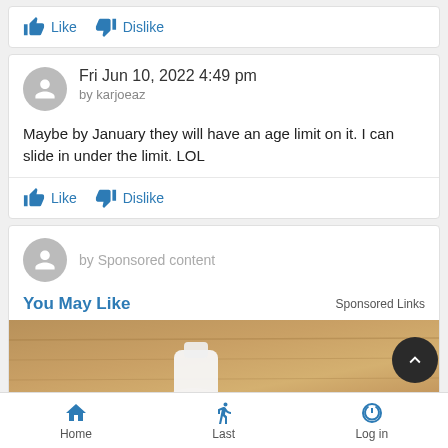Like   Dislike
Fri Jun 10, 2022 4:49 pm
by karjoeaz
Maybe by January they will have an age limit on it. I can slide in under the limit. LOL
Like   Dislike
by Sponsored content
You May Like
Sponsored Links
[Figure (photo): Partial photo of a hand holding a white object on a wooden surface, part of a sponsored/ad content block]
Home   Last   Log in